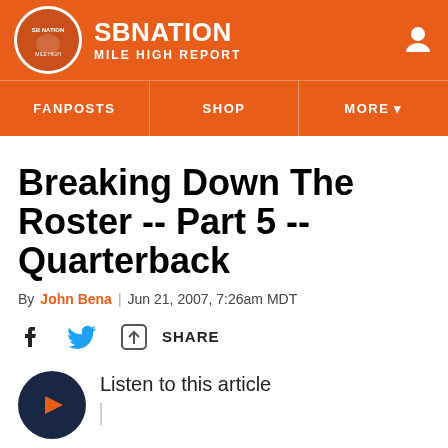SB NATION — MILE HIGH REPORT
Breaking Down The Roster -- Part 5 -- Quarterback
By John Bena | Jun 21, 2007, 7:26am MDT
SHARE
Listen to this article